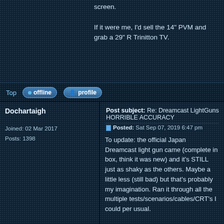screen.

If it were me, I'd sell the 14" PVM and grab a 29" R Trinitton TV.
Top
offline  profile
Dochartaigh
Joined: 02 Mar 2017
Posts: 1398
Post subject: Re: Dreamcast LightGuns HORRIBLE ACCURACY
Posted: Sat Sep 07, 2019 6:47 pm
To update: the official Japan Dreamcast light gun came (complete in box, think it was new) and it's STILL just as shaky as the others. Maybe a little less (still bad) but that's probably my imagination. Ran it through all the multiple tests/scenarios/cables/CRT's I could per usual.

To recap (since people commonly skip to the end of topics), my conclusion is the Dreamcast light guns, no matter what your setup is comprised of, are NOT accurate at all, and certainly MUCH less accurate than everything from the NES Zapper, to the Konami Justifier, to the gold standard Guncon 2. I'll again recap everything I tried:
PROBLEM: